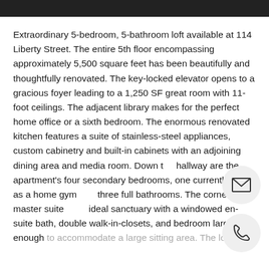Extraordinary 5-bedroom, 5-bathroom loft available at 114 Liberty Street. The entire 5th floor encompassing approximately 5,500 square feet has been beautifully and thoughtfully renovated. The key-locked elevator opens to a gracious foyer leading to a 1,250 SF great room with 11-foot ceilings. The adjacent library makes for the perfect home office or a sixth bedroom. The enormous renovated kitchen features a suite of stainless-steel appliances, custom cabinetry and built-in cabinets with an adjoining dining area and media room. Down the hallway are the apartment's four secondary bedrooms, one currently used as a home gym and three full bathrooms. The corner master suite is an ideal sanctuary with a windowed en-suite bath, double walk-in-closets, and bedroom large enough to accommodate a large sitting area. The loft is